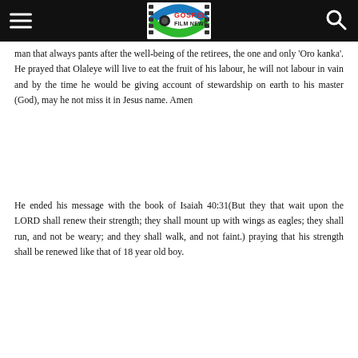Gospel Film News header with hamburger menu and search icon
man that always pants after the well-being of the retirees, the one and only ‘Oro kanka’. He prayed that Olaleye will live to eat the fruit of his labour, he will not labour in vain and by the time he would be giving account of stewardship on earth to his master (God), may he not miss it in Jesus name. Amen
He ended his message with the book of Isaiah 40:31(But they that wait upon the LORD shall renew their strength; they shall mount up with wings as eagles; they shall run, and not be weary; and they shall walk, and not faint.) praying that his strength shall be renewed like that of 18 year old boy.